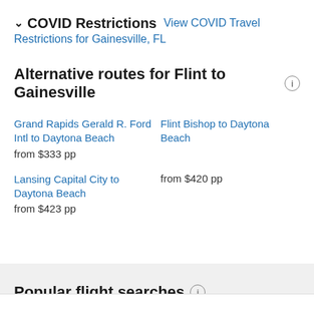COVID Restrictions  View COVID Travel Restrictions for Gainesville, FL
Alternative routes for Flint to Gainesville
Grand Rapids Gerald R. Ford Intl to Daytona Beach
from $333 pp
Flint Bishop to Daytona Beach
from $420 pp
Lansing Capital City to Daytona Beach
from $423 pp
Popular flight searches